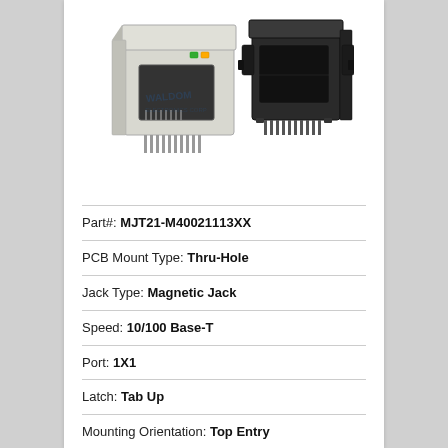[Figure (photo): Two RJ45 magnetic jack connectors shown from different angles — one showing the front face with LED indicators and shielded metal shell, the other showing the back/bottom with black plastic housing and PCB pins.]
Part#: MJT21-M40021113XX
PCB Mount Type: Thru-Hole
Jack Type: Magnetic Jack
Speed: 10/100 Base-T
Port: 1X1
Latch: Tab Up
Mounting Orientation: Top Entry
Profile: 16.90mm